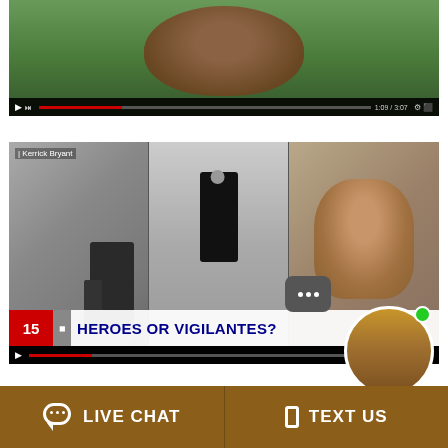[Figure (screenshot): Video player screenshot showing a close-up of a smiling man's face with green foliage background, with video controls at the bottom]
[Figure (screenshot): News broadcast screenshot split into three panels: left panel (black and white) shows a person labeled 'Kerrick Bryant' with a bag; center panel (black and white) shows a person walking in a corridor; right panel shows a young man's face. Bottom headline bar reads 'HEROES OR VIGILANTES?' with a news channel 15 logo. Chat bubble and Online Agent avatar visible in bottom-right corner.]
LIVE CHAT
TEXT US